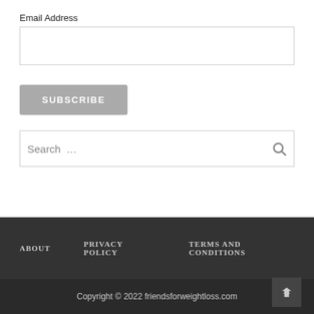Email Address
[Figure (screenshot): Email address input text field (empty)]
[Figure (screenshot): SUBSCRIBE button in gray]
[Figure (screenshot): Search input box with search icon on right]
ABOUT   PRIVACY POLICY   TERMS AND CONDITIONS
Copyright © 2022 friendsforweightloss.com